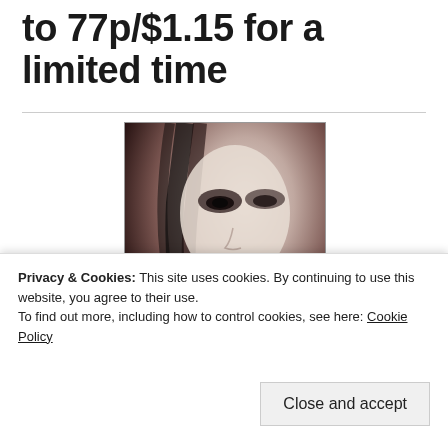to 77p/$1.15 for a limited time
[Figure (illustration): Book cover for 'Soul Destruction: Unforgivable' showing a close-up of a woman's face with dark eye makeup, pale skin, long dark hair, and red lips. The title text 'SOUL DESTRUCTION: UNFORGIVABLE' appears in the lower portion of the cover.]
Privacy & Cookies: This site uses cookies. By continuing to use this website, you agree to their use.
To find out more, including how to control cookies, see here: Cookie Policy
Close and accept